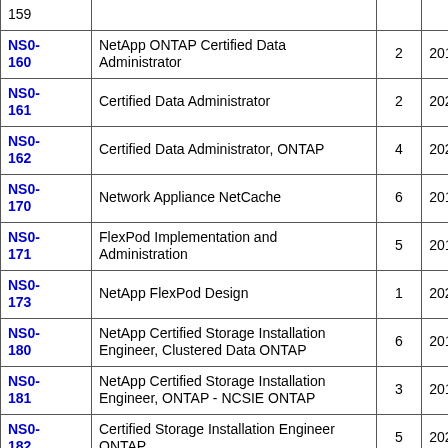| Code | Name | Num | Date |
| --- | --- | --- | --- |
| 159 |  |  | 10 |
| NS0-160 | NetApp ONTAP Certified Data Administrator | 2 | 2019-06-21 |
| NS0-161 | Certified Data Administrator | 2 | 2020-11-23 |
| NS0-162 | Certified Data Administrator, ONTAP | 4 | 2021-11-11 |
| NS0-170 | Network Appliance NetCache | 6 | 2018-11-19 |
| NS0-171 | FlexPod Implementation and Administration | 5 | 2019-03-16 |
| NS0-173 | NetApp FlexPod Design | 1 | 2021-01-29 |
| NS0-180 | NetApp Certified Storage Installation Engineer, Clustered Data ONTAP | 6 | 2018-11-19 |
| NS0-181 | NetApp Certified Storage Installation Engineer, ONTAP - NCSIE ONTAP | 3 | 2019-03-18 |
| NS0-182 | Certified Storage Installation Engineer ONTAP | 5 | 2020-09-03 |
| NS0- |  |  | 2021-01- |